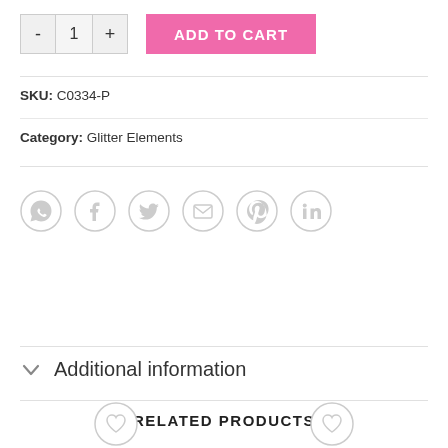[Figure (other): Quantity selector with minus button, number 1, plus button, and pink ADD TO CART button]
SKU: C0334-P
Category: Glitter Elements
[Figure (other): Six social sharing icons in circles: WhatsApp, Facebook, Twitter, Email, Pinterest, LinkedIn]
Additional information
RELATED PRODUCTS
[Figure (other): Two heart/wishlist icons at the bottom of the page, partially visible]